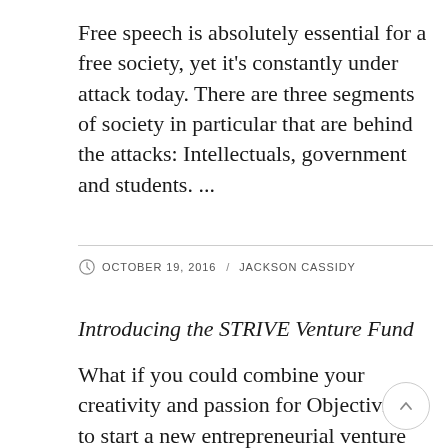Free speech is absolutely essential for a free society, yet it's constantly under attack today. There are three segments of society in particular that are behind the attacks: Intellectuals, government and students. ...
OCTOBER 19, 2016  /  JACKSON CASSIDY
Introducing the STRIVE Venture Fund
What if you could combine your creativity and passion for Objectivism to start a new entrepreneurial venture that engages fellow Objectivists and shares Rand's ideas with those...